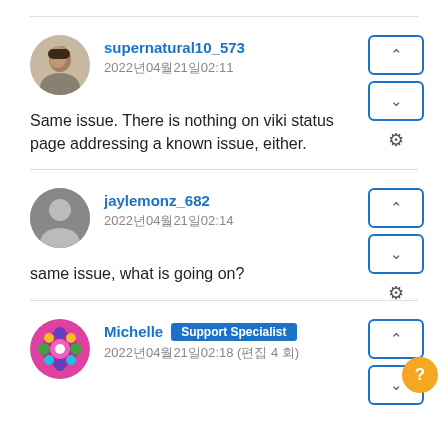supernatural10_573
2022년04월21일02:11
Same issue. There is nothing on viki status page addressing a known issue, either.
jaylemonz_682
2022년04월21일02:14
same issue, what is going on?
Michelle  Support Specialist
2022년04월21일02:18 (편집 4 회)